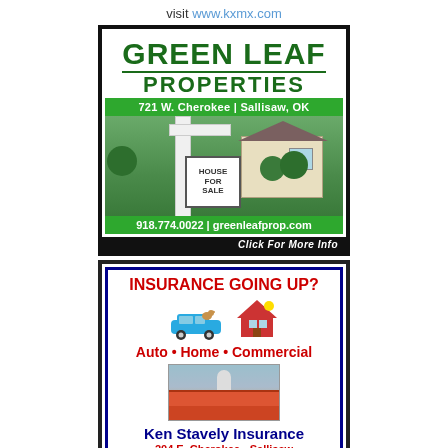visit www.kxmx.com
[Figure (illustration): Green Leaf Properties real estate advertisement. Shows company name, address 721 W. Cherokee | Sallisaw, OK, photo of a house for sale sign in front of a home, phone 918.774.0022 and website greenleafprop.com, with 'Click For More Info' button.]
[Figure (illustration): Ken Stavely Insurance advertisement. Shows 'INSURANCE GOING UP?' headline, icons of car and house, 'Auto•Home•Commercial' services, photo of a commercial building, Ken Stavely Insurance name, address 204 E. Cherokee - Sallisaw, and phone 918.775.4344.]